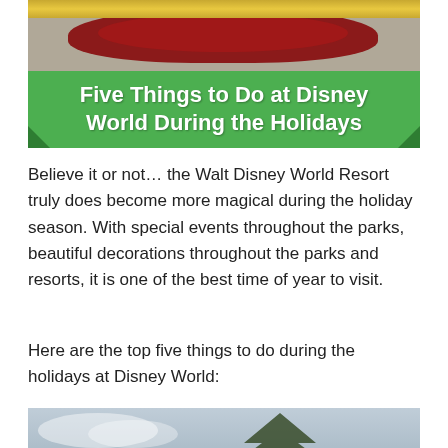[Figure (photo): Photo of Disney World floral display with red and gray flower beds, gold decorative element at top, with a green banner overlay reading 'Five Things to Do at Disney World During the Holidays']
Believe it or not… the Walt Disney World Resort truly does become more magical during the holiday season. With special events throughout the parks, beautiful decorations throughout the parks and resorts, it is one of the best time of year to visit.
Here are the top five things to do during the holidays at Disney World:
[Figure (photo): Photo of an overcast sky with tree branches visible on the right side]